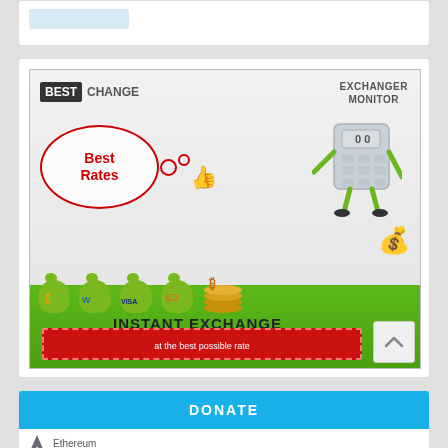[Figure (illustration): Partial top card showing a small blue rectangular element on a white card with light grey background]
[Figure (infographic): BestChange Exchanger Monitor advertisement banner. Shows logo 'BEST CHANGE EXCHANGER MONITOR', a cartoon calculator character giving thumbs up, thought bubble saying 'Best Rates' in red, money bags with Bitcoin, WebMoney, Visa, and other logos, Bitcoin coins, and text 'INSTANT EXCHANGE at the best possible rate'. Green grass at bottom. Scroll-to-top arrow button in bottom right corner.]
DONATE
Ethereum